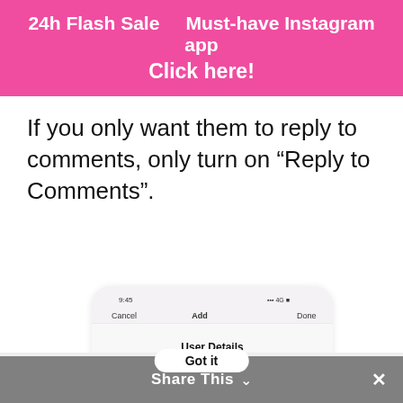24h Flash Sale    Must-have Instagram app
Click here!
If you only want them to reply to comments, only turn on “Reply to Comments”.
[Figure (screenshot): Mobile app screenshot showing a phone screen with status bar (9:45, signal, 40), navigation row with Cancel, Add, Done buttons, and a section titled User Details]
Hi there, we use cookies to give you the best experience on our website and to help us improve our service. By continuing to use our website, you consent to the use of these cookies.
Got it
Share This ∨  ✕